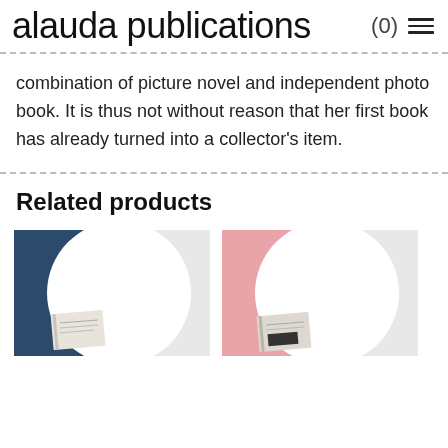alauda publications (0)
combination of picture novel and independent photo book. It is thus not without reason that her first book has already turned into a collector's item.
Related products
[Figure (photo): Two product thumbnail photos side by side: left shows a book on a dark blue background with a large white circle; right shows a book on a pink background with a large white/light circle.]